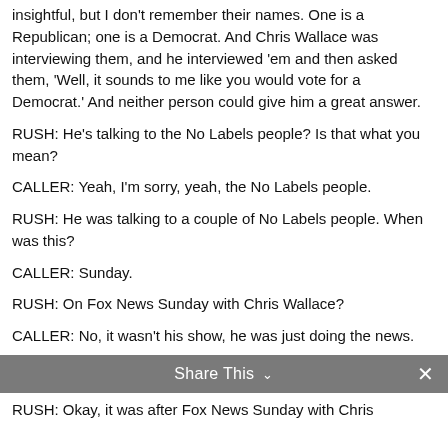insightful, but I don't remember their names. One is a Republican; one is a Democrat. And Chris Wallace was interviewing them, and he interviewed 'em and then asked them, 'Well, it sounds to me like you would vote for a Democrat.' And neither person could give him a great answer.
RUSH: He's talking to the No Labels people? Is that what you mean?
CALLER: Yeah, I'm sorry, yeah, the No Labels people.
RUSH: He was talking to a couple of No Labels people. When was this?
CALLER: Sunday.
RUSH: On Fox News Sunday with Chris Wallace?
CALLER: No, it wasn't his show, he was just doing the news.
Share This ∨  ✕
RUSH: Okay, it was after Fox News Sunday with Chris